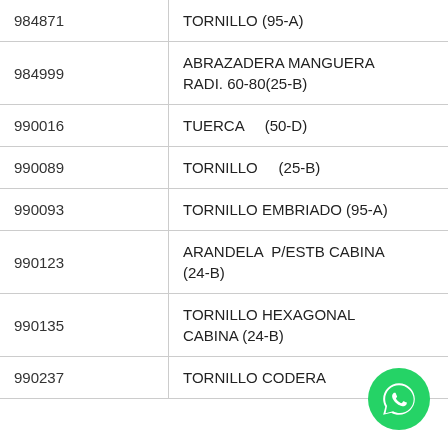| 984871 | TORNILLO (95-A) |
| 984999 | ABRAZADERA MANGUERA RADI. 60-80(25-B) |
| 990016 | TUERCA    (50-D) |
| 990089 | TORNILLO    (25-B) |
| 990093 | TORNILLO EMBRIADO (95-A) |
| 990123 | ARANDELA  P/ESTB CABINA (24-B) |
| 990135 | TORNILLO HEXAGONAL CABINA (24-B) |
| 990237 | TORNILLO CODERA |
[Figure (logo): WhatsApp button icon (green circle with phone handset)]